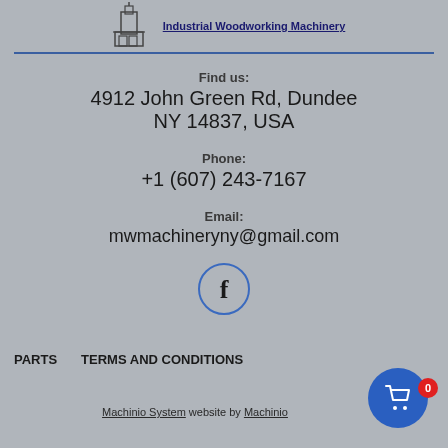[Figure (logo): Industrial Woodworking Machinery logo with machine icon and text]
Find us:
4912 John Green Rd, Dundee
NY 14837, USA
Phone:
+1 (607) 243-7167
Email:
mwmachineryny@gmail.com
[Figure (logo): Facebook icon in a circle]
PARTS
TERMS AND CONDITIONS
Machinio System website by Machinio